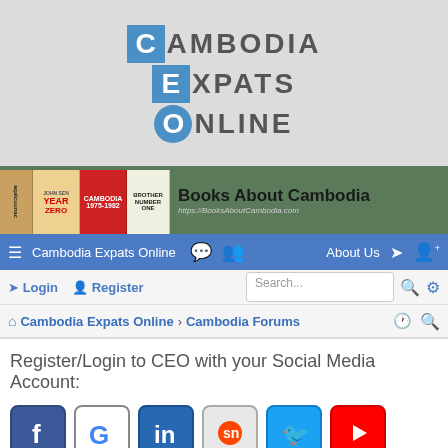[Figure (logo): Cambodia Expats Online logo with blue C, E, O letter boxes and grey text spelling CAMBODIA EXPATS ONLINE]
[Figure (screenshot): Books About Cambodia banner with book spines and green background, showing URL https://BooksAboutCambodia.com]
[Figure (screenshot): Cambodia Expats Online navigation bar with menu icon, chat icons, About Us link, login and register button icons]
[Figure (screenshot): Login/Register bar with search field]
[Figure (screenshot): Breadcrumb navigation: Cambodia Expats Online > Cambodia Forums]
Register/Login to CEO with your Social Media Account:
[Figure (screenshot): Social media login icons: Facebook, Google, LinkedIn, Reddit, Twitter, YouTube]